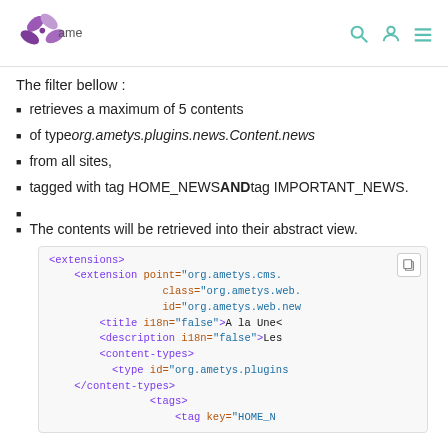ametys [logo with navigation icons]
The filter bellow :
retrieves a maximum of 5 contents
of type org.ametys.plugins.news.Content.news
from all sites,
tagged with tag HOME_NEWS AND tag IMPORTANT_NEWS.
The contents will be retrieved into their abstract view.
[Figure (screenshot): XML code block showing <extensions>, <extension point="org.ametys.cms..." class="org.ametys.web..." id="org.ametys.web.new..."> <title i18n="false">A la Une<  <description i18n="false">Les  <content-types> <type id="org.ametys.plugins  </content-types> <tags> <tag key="HOME_N...]